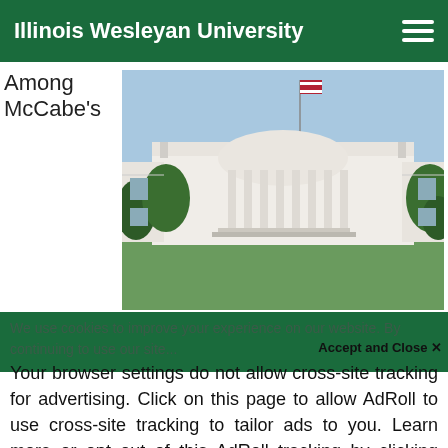Illinois Wesleyan University
Among McCabe's
[Figure (photo): Photograph of the White House south facade with American flag flying, blue sky background, trees on sides]
We use cookies to improve your experience on our website. By continuing to use our site...
Accept and Close ✕
Your browser settings do not allow cross-site tracking for advertising. Click on this page to allow AdRoll to use cross-site tracking to tailor ads to you. Learn more or opt out of this AdRoll tracking by clicking here. This message only appears once.